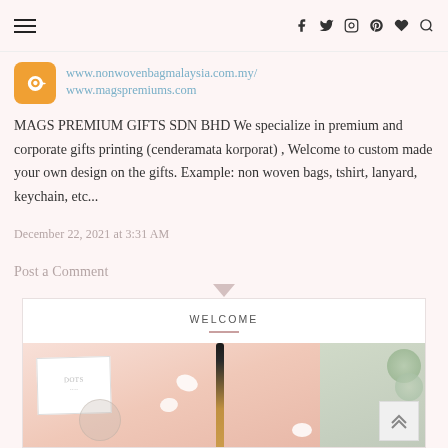Navigation bar with hamburger menu and social icons (facebook, twitter, instagram, pinterest, heart, search)
www.nonwovenbagmalaysia.com.my/
www.magspremiums.com
MAGS PREMIUM GIFTS SDN BHD We specialize in premium and corporate gifts printing (cenderamata korporat) , Welcome to custom made your own design on the gifts. Example: non woven bags, tshirt, lanyard, keychain, etc...
December 22, 2021 at 3:31 AM
Post a Comment
WELCOME
[Figure (photo): Flat lay photo of beauty/stationery items including a pink notebook with a dot pattern card, a glittery makeup brush with gold handle, a circular mirror, and green plant elements on a pink background. A small back-to-top button (double chevron up) visible in the bottom right.]